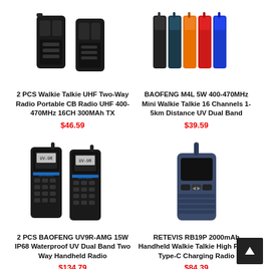[Figure (photo): 2 PCS Walkie Talkie UHF Two-Way Radio product image showing two black radio holster cases]
[Figure (photo): BAOFENG M4L 5W 400-470MHz Mini Walkie Talkie product image showing multiple colored walkie talkies]
2 PCS Walkie Talkie UHF Two-Way Radio Portable CB Radio UHF 400-470MHz 16CH 300MAh TX
$46.59
BAOFENG M4L 5W 400-470MHz Mini Walkie Talkie 16 Channels 1-5km Distance UV Dual Band
$39.59
[Figure (photo): 2 PCS BAOFENG UV9R-AMG product image showing two black dual-band handheld radios]
[Figure (photo): RETEVIS RB19P product image showing navy blue handheld walkie talkie]
2 PCS BAOFENG UV9R-AMG 15W IP68 Waterproof UV Dual Band Two Way Handheld Radio
$134.79
RETEVIS RB19P 2000mAh Handheld Walkie Talkie High Power Type-C Charging Radio
$84.39
[Figure (photo): Bottom partial product image left - antenna/top of walkie talkie]
[Figure (photo): Bottom partial product image right - antenna/top of walkie talkie]